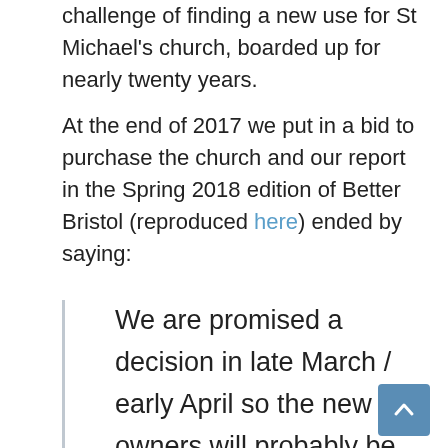challenge of finding a new use for St Michael's church, boarded up for nearly twenty years.
At the end of 2017 we put in a bid to purchase the church and our report in the Spring 2018 edition of Better Bristol (reproduced here) ended by saying:
We are promised a decision in late March / early April so the new owners will probably be known by the time Better Bristol is published. Our fingers are crossed!